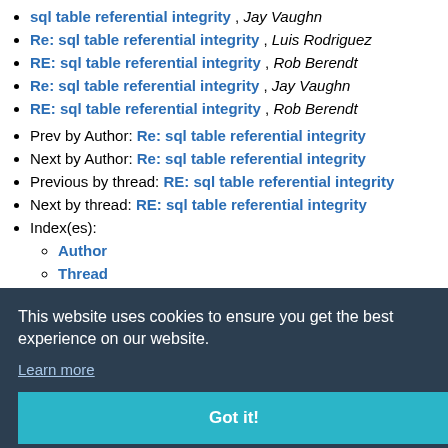sql table referential integrity , Jay Vaughn
Re: sql table referential integrity , Luis Rodriguez
RE: sql table referential integrity , Rob Berendt
Re: sql table referential integrity , Jay Vaughn
RE: sql table referential integrity , Rob Berendt
Prev by Author: Re: sql table referential integrity
Next by Author: Re: sql table referential integrity
Previous by thread: RE: sql table referential integrity
Next by thread: RE: sql table referential integrity
Index(es):
Author
Thread
This website uses cookies to ensure you get the best experience on our website.
Learn more
Got it!
home page
avid Gibbs
business or
le on our
Operating expenses for this site are earned using the Amazon Asso...